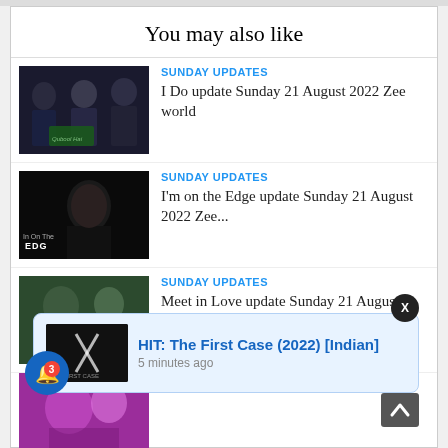You may also like
SUNDAY UPDATES
I Do update Sunday 21 August 2022 Zee world
SUNDAY UPDATES
I'm on the Edge update Sunday 21 August 2022 Zee...
SUNDAY UPDATES
Meet in Love update Sunday 21 August 2022 Zee world
[Figure (screenshot): Notification popup showing HIT: The First Case (2022) [Indian], 5 minutes ago]
HIT: The First Case (2022) [Indian]
5 minutes ago